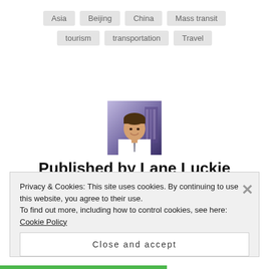Asia
Beijing
China
Mass transit
tourism
transportation
Travel
[Figure (photo): Headshot photo of Lane Luckie, a man in a suit smiling]
Published by Lane Luckie
Lane Luckie is an award-winning journalist based in Texas. A news anchor, reporter and producer, he is also an avid photographer and traveler. His
Privacy & Cookies: This site uses cookies. By continuing to use this website, you agree to their use.
To find out more, including how to control cookies, see here: Cookie Policy
Close and accept